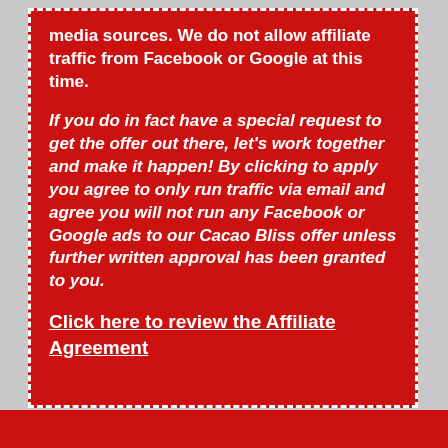media sources. We do not allow affiliate traffic from Facebook or Google at this time.
If you do in fact have a special request to get the offer out there, let's work together and make it happen! By clicking to apply you agree to only run traffic via email and agree you will not run any Facebook or Google ads to our Cacao Bliss offer unless further written approval has been granted to you.
Click here to review the Affiliate Agreement